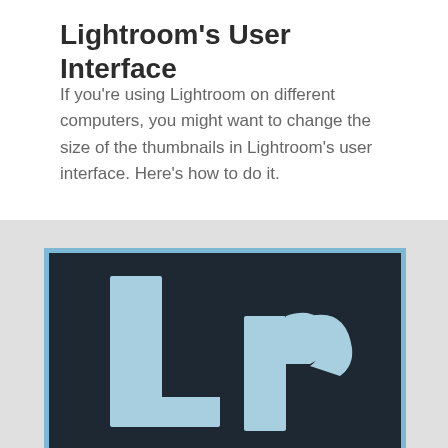Lightroom's User Interface
If you're using Lightroom on different computers, you might want to change the size of the thumbnails in Lightroom's user interface. Here's how to do it.
[Figure (logo): Adobe Lightroom 'Lr' logo — light blue letters L and r on a dark charcoal background with a light blue border]